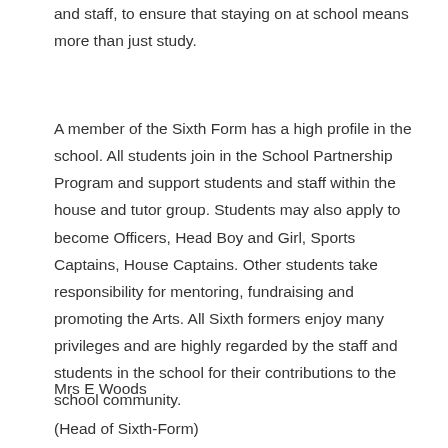and staff, to ensure that staying on at school means more than just study.
A member of the Sixth Form has a high profile in the school. All students join in the School Partnership Program and support students and staff within the house and tutor group. Students may also apply to become Officers, Head Boy and Girl, Sports Captains, House Captains. Other students take responsibility for mentoring, fundraising and promoting the Arts. All Sixth formers enjoy many privileges and are highly regarded by the staff and students in the school for their contributions to the school community.
Mrs E Woods
(Head of Sixth-Form)